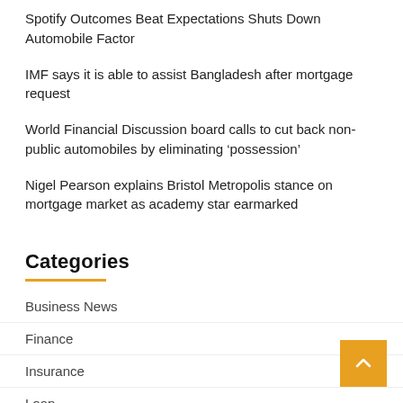Spotify Outcomes Beat Expectations Shuts Down Automobile Factor
IMF says it is able to assist Bangladesh after mortgage request
World Financial Discussion board calls to cut back non-public automobiles by eliminating ‘possession’
Nigel Pearson explains Bristol Metropolis stance on mortgage market as academy star earmarked
Categories
Business News
Finance
Insurance
Loan